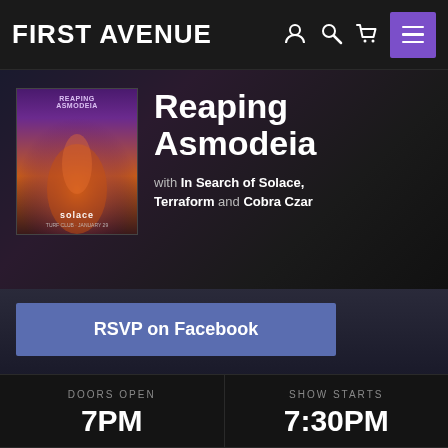FIRST AVENUE
Reaping Asmodeia
with In Search of Solace, Terraform and Cobra Czar
[Figure (illustration): Event poster for Reaping Asmodeia show at Turf Club, January 29, featuring dark fantasy artwork with purple and orange tones and the word solace visible]
RSVP on Facebook
| DOORS OPEN | SHOW STARTS |
| --- | --- |
| 7PM | 7:30PM |
| AGES | ADVANCE |
| --- | --- |
| 21+ | $12 |